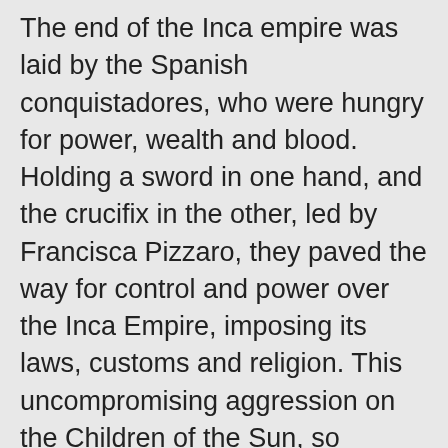The end of the Inca empire was laid by the Spanish conquistadores, who were hungry for power, wealth and blood. Holding a sword in one hand, and the crucifix in the other, led by Francisca Pizzaro, they paved the way for control and power over the Inca Empire, imposing its laws, customs and religion. This uncompromising aggression on the Children of the Sun, so different from the policy of conquests by the Incas, put an end to the magnificence of this extraordinary Empire. Today, we can mainly see what conquistadors built on the ruins of the Inca Empire. Machu Picchu - a city lost in the Peruvian Andes, whose existence the Spaniards did not know about, is the only remaining monument of the Inca's splendor. It was not until 1911 that an American scientist, the real-life Indiana Jones, Hiram Bingham, rediscovered the world...